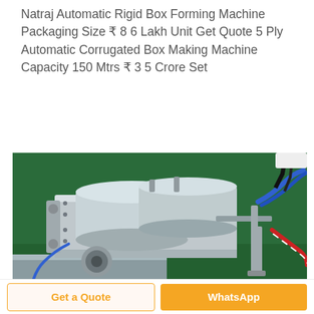Natraj Automatic Rigid Box Forming Machine Packaging Size ₹ 8 6 Lakh Unit Get Quote 5 Ply Automatic Corrugated Box Making Machine Capacity 150 Mtrs ₹ 3 5 Crore Set
[Figure (photo): Close-up photo of a silver/metallic industrial machine component with pneumatic cylinders, blue and red/white hoses, and fittings, placed on a metal surface against a green floor background.]
Get a Quote
WhatsApp